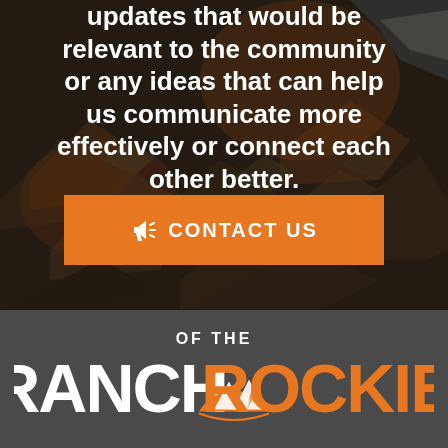updates that would be relevant to the community or any ideas that can help us communicate more effectively or connect each other better.
[Figure (other): Orange button with megaphone icon and text CONTACT US]
[Figure (logo): Ranch of the Rockies logo with orange mountain/sun emblem, white RANCH text, orange ROCKIES text, and OF THE text above]